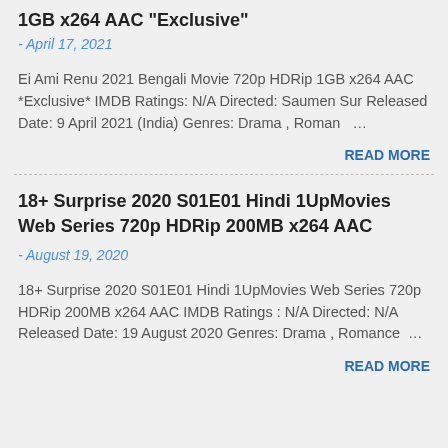1GB x264 AAC "Exclusive"
- April 17, 2021
Ei Ami Renu 2021 Bengali Movie 720p HDRip 1GB x264 AAC *Exclusive* IMDB Ratings: N/A Directed: Saumen Sur Released Date: 9 April 2021 (India) Genres: Drama , Roman …
READ MORE
18+ Surprise 2020 S01E01 Hindi 1UpMovies Web Series 720p HDRip 200MB x264 AAC
- August 19, 2020
18+ Surprise 2020 S01E01 Hindi 1UpMovies Web Series 720p HDRip 200MB x264 AAC IMDB Ratings : N/A Directed: N/A Released Date: 19 August 2020 Genres: Drama , Romance …
READ MORE